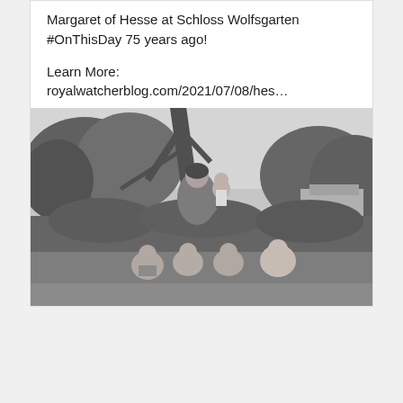Margaret of Hesse at Schloss Wolfsgarten #OnThisDay 75 years ago!

Learn More:
royalwatcherblog.com/2021/07/08/hes…
[Figure (photo): Black and white photograph of a woman standing outdoors holding a toddler, with four children sitting on the grass in front of her. Trees and a building visible in the background at Schloss Wolfsgarten.]